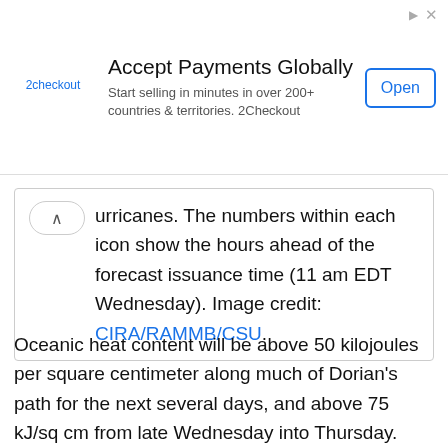[Figure (screenshot): Advertisement banner for 2checkout: 'Accept Payments Globally. Start selling in minutes in over 200+ countries & territories. 2Checkout' with an Open button.]
urricanes. The numbers within each icon show the hours ahead of the forecast issuance time (11 am EDT Wednesday). Image credit: CIRA/RAMMB/CSU.
Oceanic heat content will be above 50 kilojoules per square centimeter along much of Dorian’s path for the next several days, and above 75 kJ/sq cm from late Wednesday into Thursday. Values above 75 kJ/sq cm are closely associated with higher odds of rapid intensification. Ordinarily, the dry air still surrounding Dorian would be an inhibiting factor